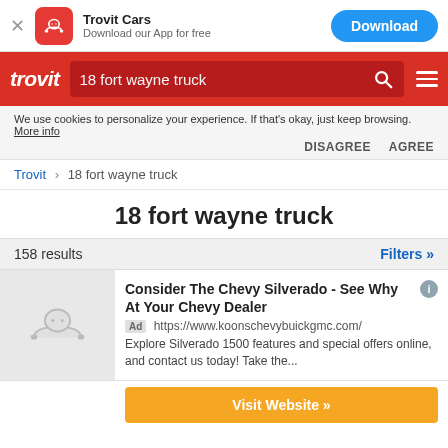[Figure (screenshot): App banner with Trovit Cars logo, 'Download our App for free' text, and a blue Download button]
trovit | 18 fort wayne truck
We use cookies to personalize your experience. If that's okay, just keep browsing. More info DISAGREE AGREE
Trovit › 18 fort wayne truck
18 fort wayne truck
158 results   Filters »
Consider The Chevy Silverado - See Why At Your Chevy Dealer
Ad https://www.koonschevybuickgmc.com/
Explore Silverado 1500 features and special offers online, and contact us today! Take the...
Visit Website »